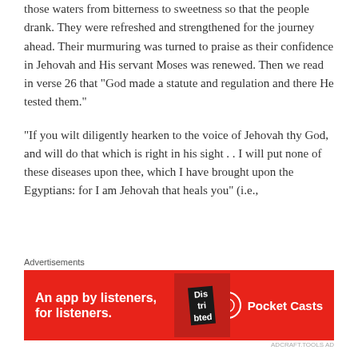those waters from bitterness to sweetness so that the people drank. They were refreshed and strengthened for the journey ahead. Their murmuring was turned to praise as their confidence in Jehovah and His servant Moses was renewed. Then we read in verse 26 that "God made a statute and regulation and there He tested them."
"If you wilt diligently hearken to the voice of Jehovah thy God, and will do that which is right in his sight . . I will put none of these diseases upon thee, which I have brought upon the Egyptians: for I am Jehovah that heals you" (i.e.,
Advertisements
[Figure (infographic): Pocket Casts advertisement banner on red background. Text: 'An app by listeners, for listeners.' with Pocket Casts logo on right and a phone image showing 'Distributed' text.]